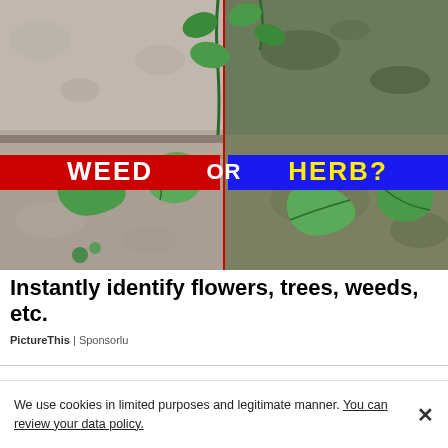[Figure (photo): Advertisement image showing a split photo of green plants growing through concrete cracks. A red banner on the left reads 'WEED' in white bold text, and a blue banner on the right reads 'HERB?' in yellow bold text, with 'OR' in white in the center between the two banners.]
Instantly identify flowers, trees, weeds, etc.
PictureThis | Sponsorlu
We use cookies in limited purposes and legitimate manner. You can review your data policy.